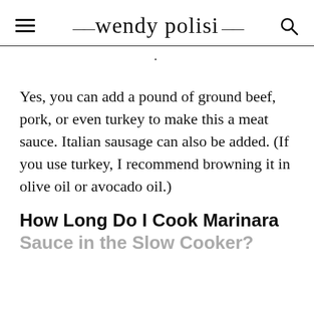wendy polisi
Yes, you can add a pound of ground beef, pork, or even turkey to make this a meat sauce. Italian sausage can also be added. (If you use turkey, I recommend browning it in olive oil or avocado oil.)
How Long Do I Cook Marinara Sauce in the Slow Cooker?